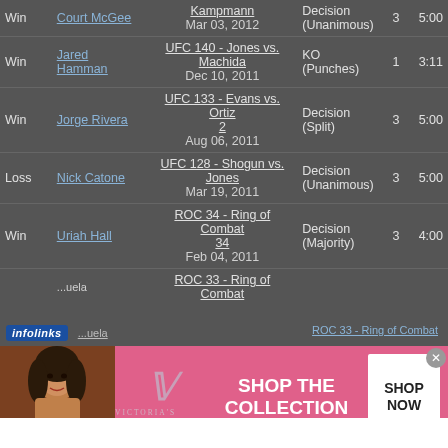| Result | Opponent | Event | Method | Rd | Time |
| --- | --- | --- | --- | --- | --- |
| Win | Court McGee | Kampmann
Mar 03, 2012 | Decision (Unanimous) | 3 | 5:00 |
| Win | Jared Hamman | UFC 140 - Jones vs. Machida
Dec 10, 2011 | KO (Punches) | 1 | 3:11 |
| Win | Jorge Rivera | UFC 133 - Evans vs. Ortiz
2
Aug 06, 2011 | Decision (Split) | 3 | 5:00 |
| Loss | Nick Catone | UFC 128 - Shogun vs. Jones
Mar 19, 2011 | Decision (Unanimous) | 3 | 5:00 |
| Win | Uriah Hall | ROC 34 - Ring of Combat
34
Feb 04, 2011 | Decision (Majority) | 3 | 4:00 |
|  |  | ROC 33 - Ring of Combat |  |  |  |
[Figure (screenshot): Victoria's Secret advertisement banner: pink background with model photo, VS logo, text 'SHOP THE COLLECTION', and 'SHOP NOW' button. Has infolinks bar on top and close button.]